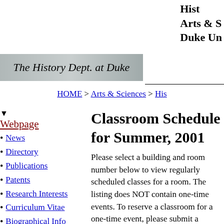History Department
Arts & Sciences
Duke University
[Figure (logo): The History Dept. at Duke - italic script logo on gray gradient background]
HOME > Arts & Sciences > History
Classroom Schedule for Summer, 2001
Webpage
News
Directory
Publications
Patents
Research Interests
Curriculum Vitae
Biographical Info
Courses
Contact
Please select a building and room number below to view regularly scheduled classes for a room. The listing does NOT contain one-time events. To reserve a classroom for a one-time event, please submit a request to the Student Services Center.
Classes regularly scheduled in Crowell for Summer, 2001
| Day |  |
| --- | --- |
| MON |  |
| TUES |  |
| WED |  |
| THURS |  |